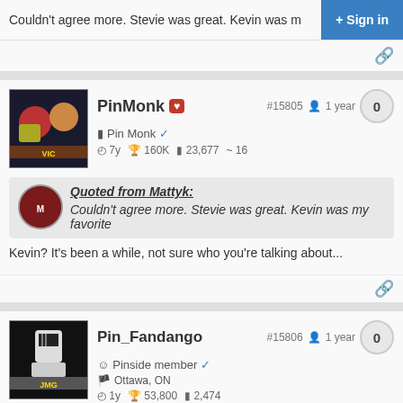Couldn't agree more. Stevie was great. Kevin was m
Sign in
PinMonk #15805 1 year 0
Pin Monk
7y 160K 23,677 16
Quoted from Mattyk: Couldn't agree more. Stevie was great. Kevin was my favorite
Kevin? It's been a while, not sure who you're talking about...
Pin_Fandango #15806 1 year 0
Pinside member
Ottawa, ON
1y 53,800 2,474